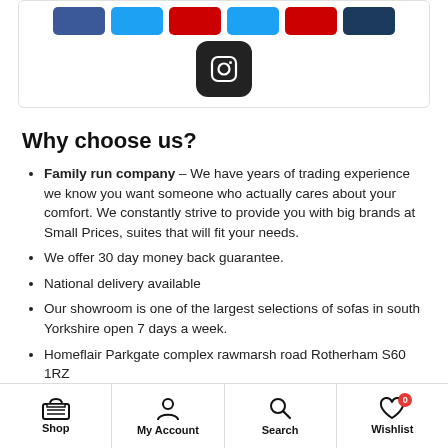[Figure (screenshot): Social media buttons row: Facebook (blue), Twitter (light blue), YouTube (red), Twitter (light blue), YouTube (red), LinkedIn (dark blue), and Instagram (dark/black rounded square icon) below]
Why choose us?
Family run company – We have years of trading experience we know you want someone who actually cares about your comfort. We constantly strive to provide you with big brands at Small Prices, suites that will fit your needs.
We offer 30 day money back guarantee.
National delivery available
Our showroom is one of the largest selections of sofas in south Yorkshire open 7 days a week.
Homeflair Parkgate complex rawmarsh road Rotherham S60 1RZ
Shop | My Account | Search | Wishlist (0)